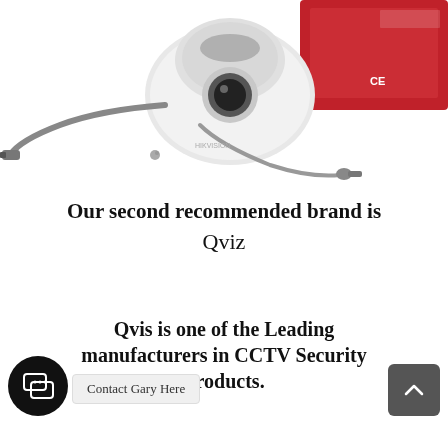[Figure (photo): A white dome CCTV security camera with cable attached, alongside a red product box with CE marking]
Our second recommended brand is Qviz
Qvis is one of the Leading manufacturers in CCTV Security Products.